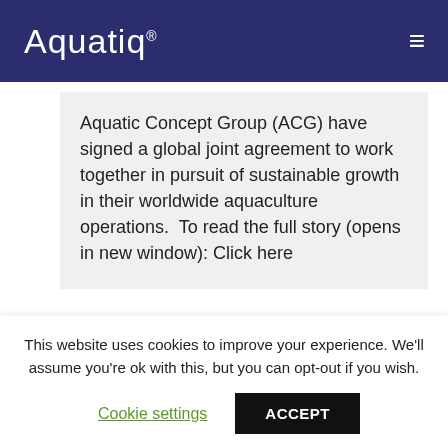Aquatiq®
Aquatic Concept Group (ACG) have signed a global joint agreement to work together in pursuit of sustainable growth in their worldwide aquaculture operations.  To read the full story (opens in new window): Click here
Aquatic Concept Group
This website uses cookies to improve your experience. We'll assume you're ok with this, but you can opt-out if you wish.
Cookie settings  ACCEPT